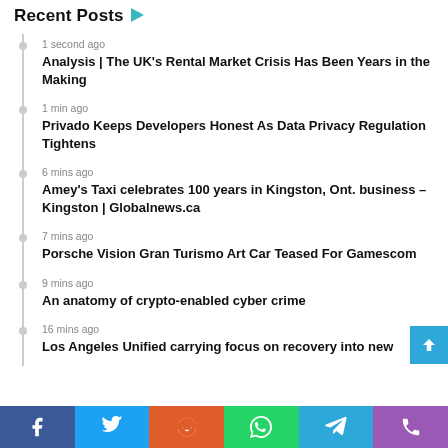Recent Posts
1 second ago
Analysis | The UK's Rental Market Crisis Has Been Years in the Making
1 min ago
Privado Keeps Developers Honest As Data Privacy Regulation Tightens
6 mins ago
Amey's Taxi celebrates 100 years in Kingston, Ont. business – Kingston | Globalnews.ca
7 mins ago
Porsche Vision Gran Turismo Art Car Teased For Gamescom
9 mins ago
An anatomy of crypto-enabled cyber crime
16 mins ago
Los Angeles Unified carrying focus on recovery into new